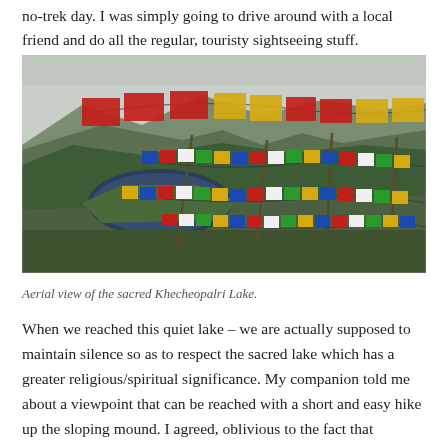no-trek day. I was simply going to drive around with a local friend and do all the regular, touristy sightseeing stuff.
[Figure (photo): Aerial view of Khecheopalri Lake surrounded by forested hills, with colorful Buddhist prayer flags in the foreground strung on poles.]
Aerial view of the sacred Khecheopalri Lake.
When we reached this quiet lake – we are actually supposed to maintain silence so as to respect the sacred lake which has a greater religious/spiritual significance. My companion told me about a viewpoint that can be reached with a short and easy hike up the sloping mound. I agreed, oblivious to the fact that